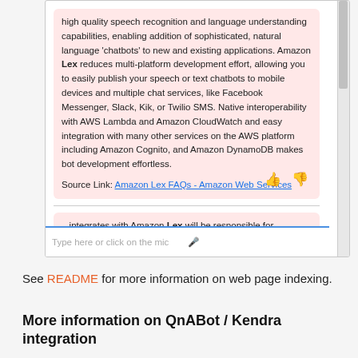[Figure (screenshot): Screenshot of a chatbot interface showing a chat bubble with text about Amazon Lex capabilities, a source link to Amazon Lex FAQs, a separator, a second partial chat bubble, thumbs up/down icons, and a text input bar at the bottom.]
See README for more information on web page indexing.
More information on QnABot / Kendra integration